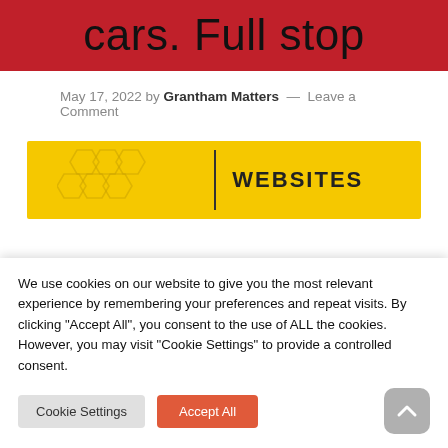cars. Full stop
May 17, 2022 by Grantham Matters — Leave a Comment
[Figure (other): Yellow banner with honeycomb pattern on the left, a vertical divider line, and the text WEBSITES on the right side]
We use cookies on our website to give you the most relevant experience by remembering your preferences and repeat visits. By clicking "Accept All", you consent to the use of ALL the cookies. However, you may visit "Cookie Settings" to provide a controlled consent.